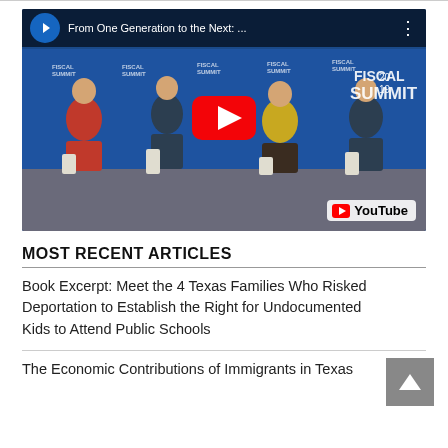[Figure (screenshot): YouTube video embed thumbnail showing a panel discussion at the Fiscal Summit 2019 with 4 panelists on stage. Title reads 'From One Generation to the Next: ...' with a large red play button in the center and YouTube watermark in the bottom right.]
MOST RECENT ARTICLES
Book Excerpt: Meet the 4 Texas Families Who Risked Deportation to Establish the Right for Undocumented Kids to Attend Public Schools
The Economic Contributions of Immigrants in Texas